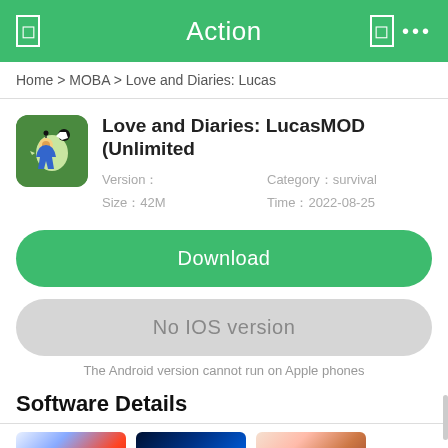Action
Home > MOBA > Love and Diaries: Lucas
Love and Diaries: LucasMOD (Unlimited
Version【】  Category【survival】  Size【142M】  Time【122022-08-25】
Download
No IOS version
The Android version cannot run on Apple phones
Software Details
[Figure (screenshot): Three app thumbnail images partially visible at the bottom of the page]